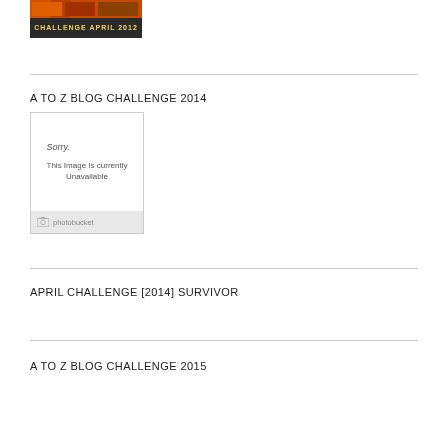[Figure (photo): A To Z Blog Challenge April 2012 badge image]
A TO Z BLOG CHALLENGE 2014
[Figure (other): Photobucket placeholder image - Sorry. This Image Is currently Unavailable]
APRIL CHALLENGE [2014] SURVIVOR
A TO Z BLOG CHALLENGE 2015